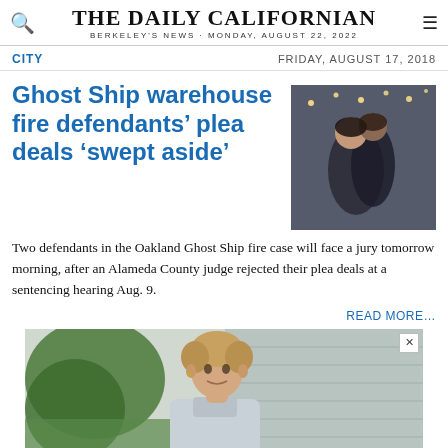THE DAILY CALIFORNIAN
BERKELEY'S NEWS · MONDAY, AUGUST 22, 2022
CITY
FRIDAY, AUGUST 17, 2018
Ghost Ship warehouse fire defendants' plea deals 'swept aside'
[Figure (photo): Two people embracing indoors with string lights visible in background]
Two defendants in the Oakland Ghost Ship fire case will face a jury tomorrow morning, after an Alameda County judge rejected their plea deals at a sentencing hearing Aug. 9.
READ MORE…
[Figure (photo): Advertisement showing a young man with curly hair standing in front of a house with siding]